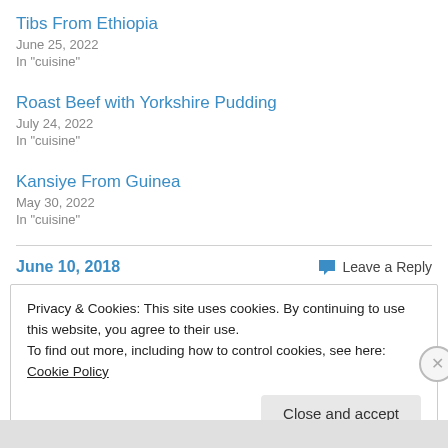Tibs From Ethiopia
June 25, 2022
In "cuisine"
Roast Beef with Yorkshire Pudding
July 24, 2022
In "cuisine"
Kansiye From Guinea
May 30, 2022
In "cuisine"
June 10, 2018
Leave a Reply
Privacy & Cookies: This site uses cookies. By continuing to use this website, you agree to their use.
To find out more, including how to control cookies, see here: Cookie Policy
Close and accept